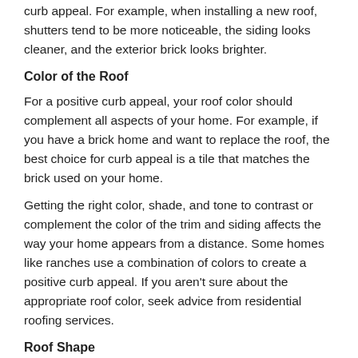curb appeal. For example, when installing a new roof, shutters tend to be more noticeable, the siding looks cleaner, and the exterior brick looks brighter.
Color of the Roof
For a positive curb appeal, your roof color should complement all aspects of your home. For example, if you have a brick home and want to replace the roof, the best choice for curb appeal is a tile that matches the brick used on your home.
Getting the right color, shade, and tone to contrast or complement the color of the trim and siding affects the way your home appears from a distance. Some homes like ranches use a combination of colors to create a positive curb appeal. If you aren't sure about the appropriate roof color, seek advice from residential roofing services.
Roof Shape
The shape of your roof affects your home's ability to tolerate natural hazards such as strong winds and storms. Also, the right shape for your roof adds curb appeal and value to your